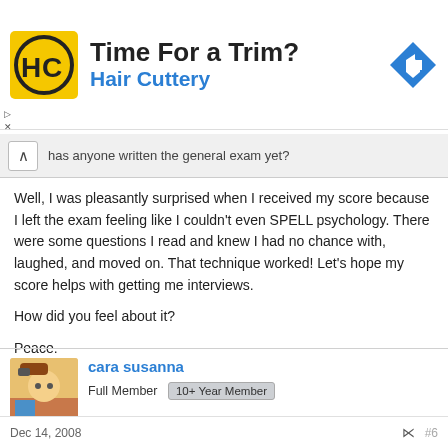[Figure (other): Hair Cuttery advertisement banner with logo, tagline 'Time For a Trim?' and navigation arrow icon]
has anyone written the general exam yet?
Well, I was pleasantly surprised when I received my score because I left the exam feeling like I couldn't even SPELL psychology. There were some questions I read and knew I had no chance with, laughed, and moved on. That technique worked! Let's hope my score helps with getting me interviews.

How did you feel about it?

Peace.
cara susanna
Full Member  10+ Year Member
Dec 14, 2008  #6